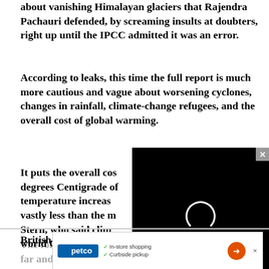about vanishing Himalayan glaciers that Rajendra Pachauri defended, by screaming insults at doubters, right up until the IPCC admitted it was an error.
According to leaks, this time the full report is much more cautious and vague about worsening cyclones, changes in rainfall, climate-change refugees, and the overall cost of global warming.
[Figure (other): Black video player overlay with loading spinner and close button (x), partially obscuring article text]
It puts the overall cost... degrees Centigrade of... temperature increase... vastly less than the m... Stern, who said climat... world GDP in his infl... British government.
[Figure (other): Advertisement banner for Petco featuring in-store shopping and curbside pickup options with Petco logo and navigation arrow icon]
The fo... limate change has extinguished no species so far and